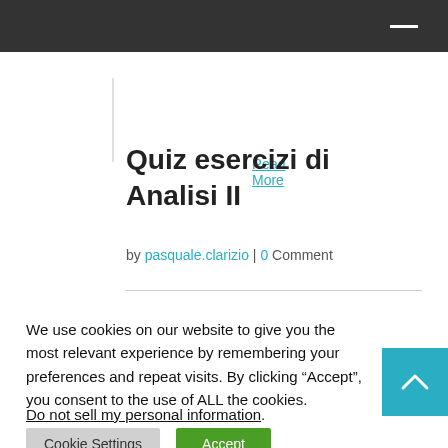Read More
Quiz esercizi di Analisi II
by pasquale.clarizio | 0 Comment
We use cookies on our website to give you the most relevant experience by remembering your preferences and repeat visits. By clicking “Accept”, you consent to the use of ALL the cookies.
Do not sell my personal information.
Cookie Settings
Accept